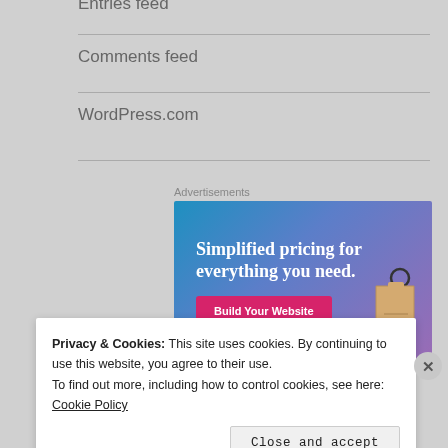Entries feed
Comments feed
WordPress.com
Advertisements
[Figure (illustration): Advertisement banner with gradient blue-purple background, text 'Simplified pricing for everything you need.' in white serif font, a pink 'Build Your Website' button, and a price tag graphic on the right.]
Privacy & Cookies: This site uses cookies. By continuing to use this website, you agree to their use.
To find out more, including how to control cookies, see here: Cookie Policy
Close and accept